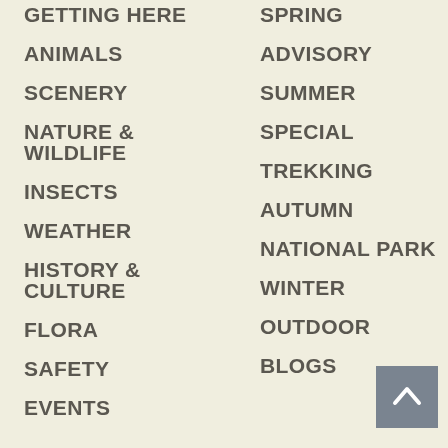GETTING HERE
ANIMALS
SCENERY
NATURE & WILDLIFE
INSECTS
WEATHER
HISTORY & CULTURE
FLORA
SAFETY
EVENTS
SPRING
ADVISORY
SUMMER
SPECIAL
TREKKING
AUTUMN
NATIONAL PARK
WINTER
OUTDOOR
BLOGS